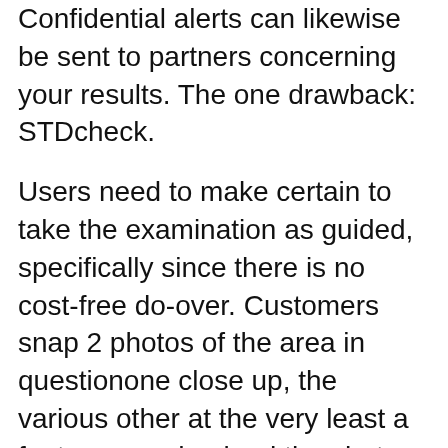Confidential alerts can likewise be sent to partners concerning your results. The one drawback: STDcheck.
Users need to make certain to take the examination as guided, specifically since there is no cost-free do-over. Customers snap 2 photos of the area in questionone close up, the various other at the very least a foot awayand upload the shots with a short summary of what's going on.
A specialist will certainly examine your instance and respond within a 24-hour duration, all for $40. There most evident advantage to sexually transmitted disease Triagewhich is powered by i, Doc24, an on-demand teledermatology companyis that